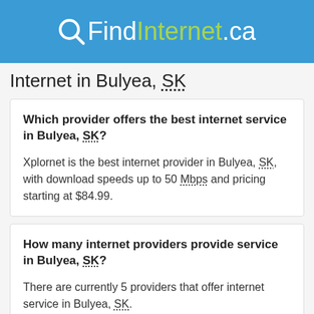QFindInternet.ca
Internet in Bulyea, SK
Which provider offers the best internet service in Bulyea, SK?
Xplornet is the best internet provider in Bulyea, SK, with download speeds up to 50 Mbps and pricing starting at $84.99.
How many internet providers provide service in Bulyea, SK?
There are currently 5 providers that offer internet service in Bulyea, SK.